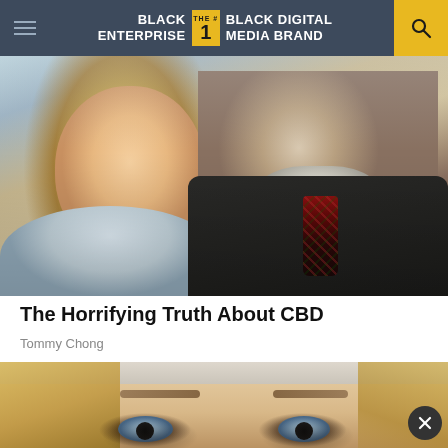Black Enterprise — The #1 Black Digital Media Brand
[Figure (photo): Photo of a smiling blonde woman and an older man with white beard, both dressed formally, at an event]
The Horrifying Truth About CBD
Tommy Chong
[Figure (photo): Close-up face of a blonde woman with a white headband, with dark marks/bruising around her eyes]